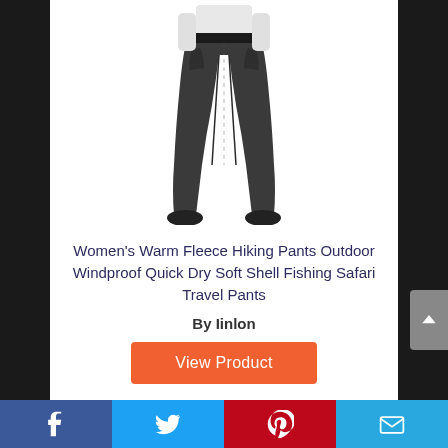[Figure (photo): Woman wearing dark charcoal/black soft shell hiking pants with a white long-sleeve shirt, shown from waist down]
Women's Warm Fleece Hiking Pants Outdoor Windproof Quick Dry Soft Shell Fishing Safari Travel Pants
By Iinlon
View Product
Facebook | Twitter | Pinterest | Email